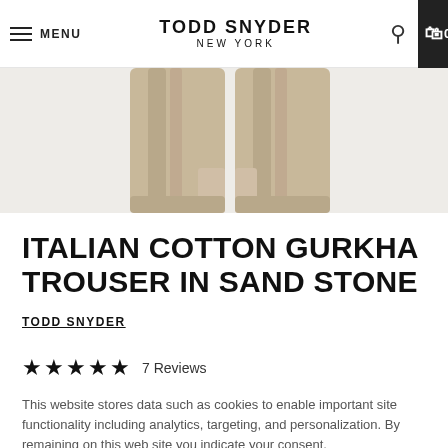MENU | TODD SNYDER NEW YORK | 0
[Figure (photo): Product photo showing the bottom portion of khaki/sand colored trousers laid flat on a light gray background]
ITALIAN COTTON GURKHA TROUSER IN SAND STONE
TODD SNYDER
★★★★★  7 Reviews
This website stores data such as cookies to enable important site functionality including analytics, targeting, and personalization. By remaining on this web site you indicate your consent. Data Storage Policy